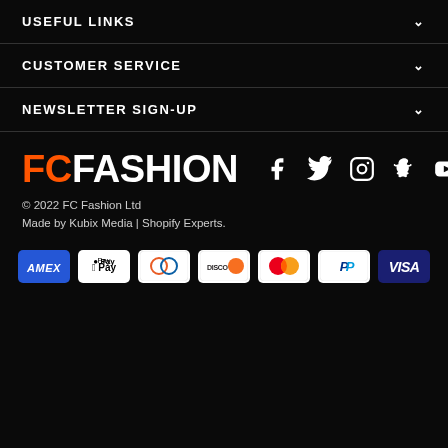USEFUL LINKS
CUSTOMER SERVICE
NEWSLETTER SIGN-UP
[Figure (logo): FC Fashion logo with FC in orange and FASHION in white, bold uppercase text]
[Figure (infographic): Social media icons: Facebook, Twitter, Instagram, Snapchat, YouTube, WhatsApp]
© 2022 FC Fashion Ltd
Made by Kubix Media | Shopify Experts.
[Figure (infographic): Payment method badges: American Express, Apple Pay, Diners Club, Discover, Mastercard, PayPal, Visa]